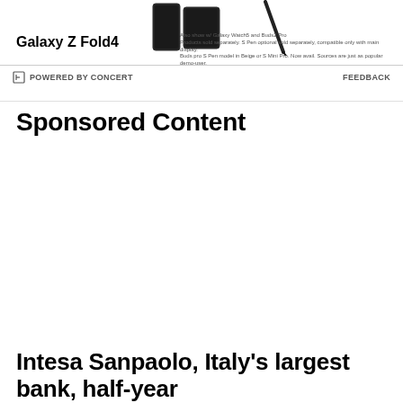[Figure (screenshot): Samsung Galaxy Z Fold4 advertisement banner with product image, product name, small description text about accessories, powered by Concert logo, and Feedback link]
Sponsored Content
Intesa Sanpaolo, Italy's largest bank, half-year